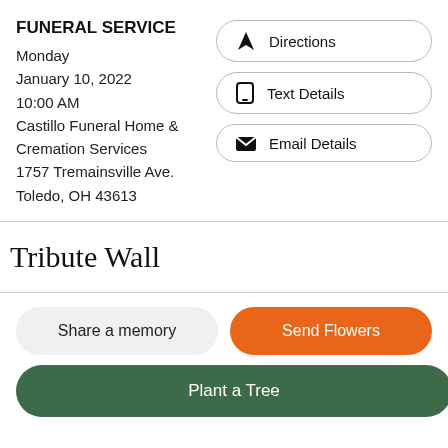FUNERAL SERVICE
Monday
January 10, 2022
10:00 AM
Castillo Funeral Home & Cremation Services
1757 Tremainsville Ave.
Toledo, OH 43613
Directions
Text Details
Email Details
Tribute Wall
Share a memory
Send Flowers
Plant a Tree